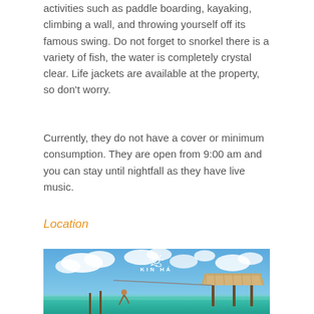activities such as paddle boarding, kayaking, climbing a wall, and throwing yourself off its famous swing. Do not forget to snorkel there is a variety of fish, the water is completely crystal clear. Life jackets are available at the property, so don't worry.
Currently, they do not have a cover or minimum consumption. They are open from 9:00 am and you can stay until nightfall as they have live music.
Location
[Figure (photo): Tropical beach scene showing turquoise water, blue sky with white clouds, a thatched-roof palapa hut on stilts, and a person on a zip line or swing over the water. White KIN HÁ logo and sun icon overlay at the top center of the image.]